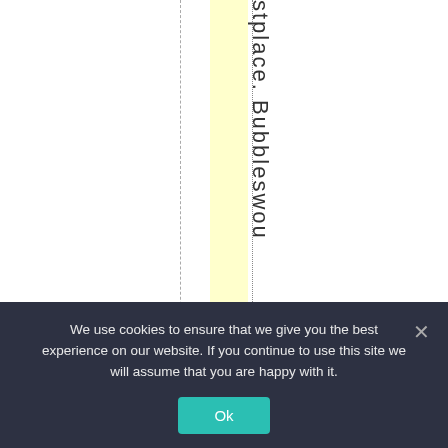[Figure (other): A page layout showing a yellow highlighted vertical column, a dashed vertical line to its left, a dotted vertical line to its right, and vertical text reading 'stplace. Bubbleswou' running top to bottom alongside the dotted line.]
We use cookies to ensure that we give you the best experience on our website. If you continue to use this site we will assume that you are happy with it.
Ok